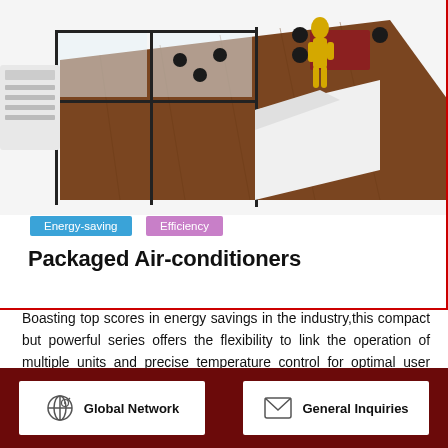[Figure (illustration): Isometric 3D rendering of a packaged air-conditioner unit installed through a glass wall into an office/restaurant interior with wooden floors, black chairs, tables, and a yellow human silhouette figure.]
Energy-saving
Efficiency
Packaged Air-conditioners
Boasting top scores in energy savings in the industry,this compact but powerful series offers the flexibility to link the operation of multiple units and precise temperature control for optimal user comfort.
* Available product line up might differ from country to country, please contact your local company.
Global Network
General Inquiries